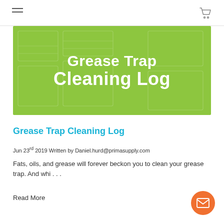[Figure (illustration): Green banner image with white bold text reading 'Grease Trap Cleaning Log']
Grease Trap Cleaning Log
Jun 23rd 2019 Written by Daniel.hurd@primasupply.com
Fats, oils, and grease will forever beckon you to clean your grease trap. And whi . . .
Read More